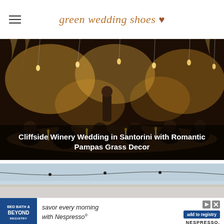green wedding shoes ♥
[Figure (photo): Outdoor wedding reception dinner at night with guests seated at a long table, decorated with hanging Edison bulbs, pampas grass, and candles at a cliffside winery in Santorini]
Cliffside Winery Wedding in Santorini with Romantic Pampas Grass Decor
[Figure (photo): Outdoor venue with string lights against a blue sky, partially visible]
[Figure (other): Advertisement: Bed Bath & Beyond Registry — savor every morning with Nespresso — add to registry button and Nespresso logo]